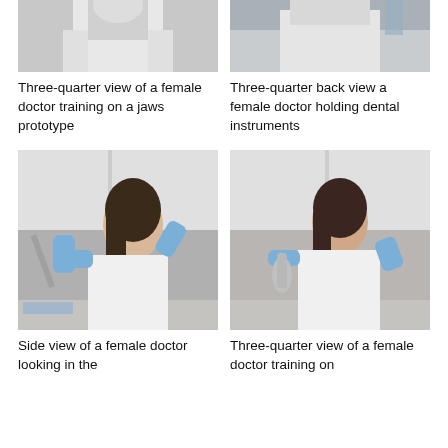[Figure (photo): Top portion of a female doctor in white coat, cropped, three-quarter view, training on a jaws prototype]
[Figure (photo): Top portion of a female doctor in white coat, cropped, three-quarter back view, holding dental instruments]
Three-quarter view of a female doctor training on a jaws prototype
Three-quarter back view a female doctor holding dental instruments
[Figure (photo): Side view of a female doctor in white coat and blue gloves, holding dental tools, looking to the side with her hand raised to her head]
[Figure (photo): Three-quarter view of a female doctor in white coat and blue gloves, holding dental instruments, making an expression]
Side view of a female doctor looking in the
Three-quarter view of a female doctor training on